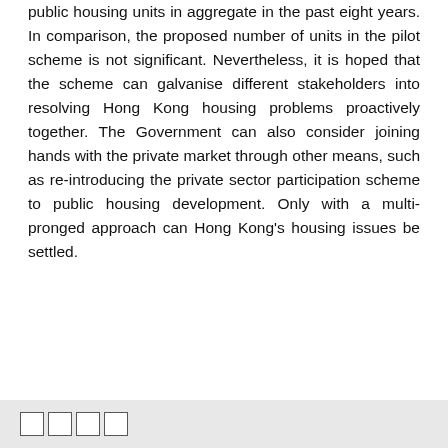public housing units in aggregate in the past eight years. In comparison, the proposed number of units in the pilot scheme is not significant. Nevertheless, it is hoped that the scheme can galvanise different stakeholders into resolving Hong Kong housing problems proactively together. The Government can also consider joining hands with the private market through other means, such as re-introducing the private sector participation scheme to public housing development. Only with a multi-pronged approach can Hong Kong's housing issues be settled.
□□□□